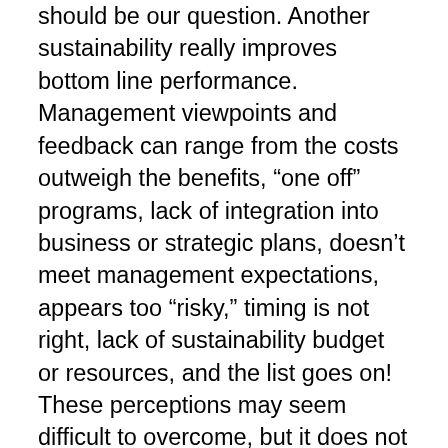should be our question. Another sustainability really improves bottom line performance. Management viewpoints and feedback can range from the costs outweigh the benefits, “one off” programs, lack of integration into business or strategic plans, doesn’t meet management expectations, appears too “risky,” timing is not right, lack of sustainability budget or resources, and the list goes on! These perceptions may seem difficult to overcome, but it does not mean that sustainability programs and initiatives should not be pursued. So what has to change? One of the most important strategies lies in reframing the sustainability